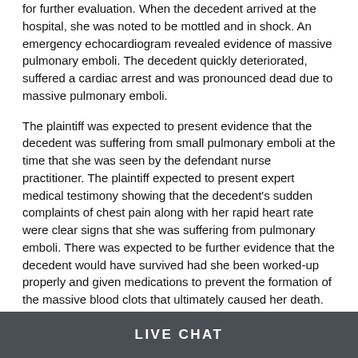for further evaluation. When the decedent arrived at the hospital, she was noted to be mottled and in shock. An emergency echocardiogram revealed evidence of massive pulmonary emboli. The decedent quickly deteriorated, suffered a cardiac arrest and was pronounced dead due to massive pulmonary emboli.
The plaintiff was expected to present evidence that the decedent was suffering from small pulmonary emboli at the time that she was seen by the defendant nurse practitioner. The plaintiff expected to present expert medical testimony showing that the decedent's sudden complaints of chest pain along with her rapid heart rate were clear signs that she was suffering from pulmonary emboli. There was expected to be further evidence that the decedent would have survived had she been worked-up properly and given medications to prevent the formation of the massive blood clots that ultimately caused her death.
The case settled two weeks before trial for $1,700,000.
Lubin & Meyer attorneys represented the plaintiff in this lawsuit regarding the failure to diagnose and treat pulmonary embolus.
C...
LIVE CHAT